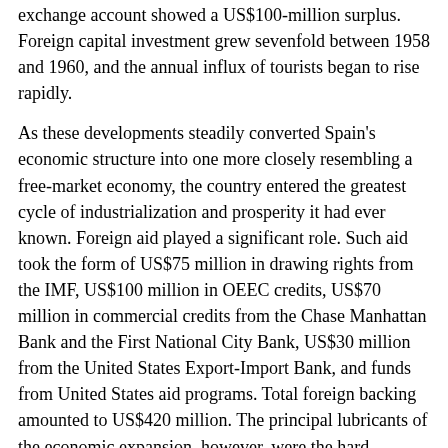exchange account showed a US$100-million surplus. Foreign capital investment grew sevenfold between 1958 and 1960, and the annual influx of tourists began to rise rapidly.
As these developments steadily converted Spain's economic structure into one more closely resembling a free-market economy, the country entered the greatest cycle of industrialization and prosperity it had ever known. Foreign aid played a significant role. Such aid took the form of US$75 million in drawing rights from the IMF, US$100 million in OEEC credits, US$70 million in commercial credits from the Chase Manhattan Bank and the First National City Bank, US$30 million from the United States Export-Import Bank, and funds from United States aid programs. Total foreign backing amounted to US$420 million. The principal lubricants of the economic expansion, however, were the hard currency remittances of 1 million Spanish workers abroad, which are estimated to have offset 17.9 percent of the total trade deficit from 1962 to 1971; the gigantic increase in tourism that drew more than 20 million visitors per year by the end of the 1960s and that accounted for at least 9 percent of the GNP; and direct foreign investment, which between 1960 and 1974 amounted to an impressive US$7.6 billion. More than 40 percent of this investment came from the United States, almost 17 percent came from Switzerland, and the Federal Republic of Germany (West Germany) and France each accounted for slightly more than 10 percent. By 1975 foreign capital amounted to 12.4 percent of all